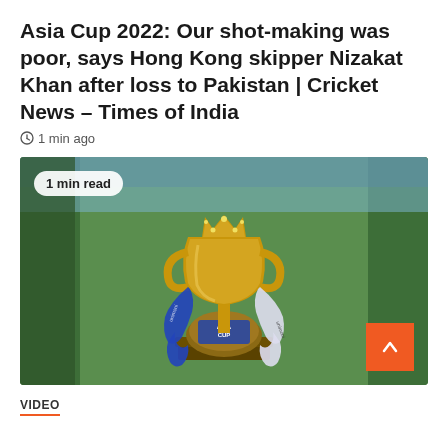Asia Cup 2022: Our shot-making was poor, says Hong Kong skipper Nizakat Khan after loss to Pakistan | Cricket News – Times of India
1 min ago
[Figure (photo): Photo of the Asia Cup trophy, a golden cup with a crown on top, displayed on a wooden base with blue and white 'Unimoni' sponsor ribbons draped around it. The background shows a green cricket field. A '1 min read' badge appears in the top-left corner, and an orange scroll-up button is in the bottom-right corner.]
VIDEO